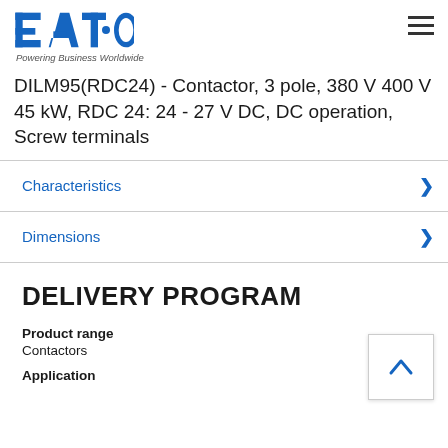EATON - Powering Business Worldwide
DILM95(RDC24) - Contactor, 3 pole, 380 V 400 V 45 kW, RDC 24: 24 - 27 V DC, DC operation, Screw terminals
Characteristics
Dimensions
DELIVERY PROGRAM
Product range
Contactors
Application